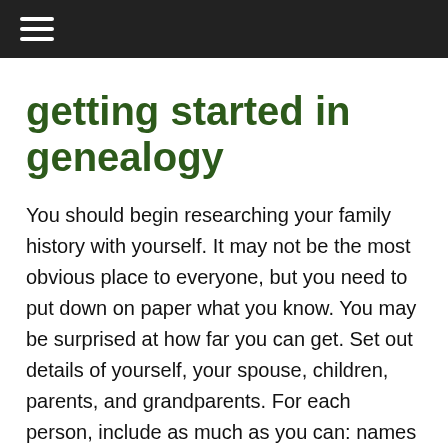≡
getting started in genealogy
You should begin researching your family history with yourself. It may not be the most obvious place to everyone, but you need to put down on paper what you know. You may be surprised at how far you can get. Set out details of yourself, your spouse, children, parents, and grandparents. For each person, include as much as you can: names (maiden name for the married women), date and